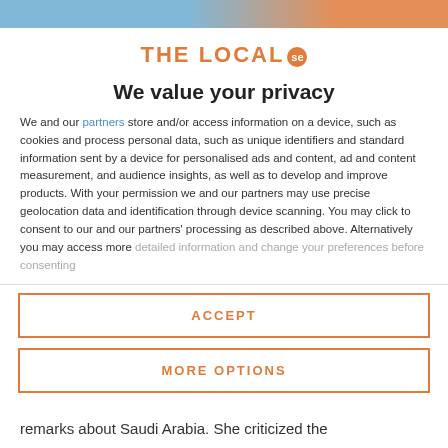[Figure (screenshot): Top image strip with blue and orange banner fragments]
THE LOCAL se
We value your privacy
We and our partners store and/or access information on a device, such as cookies and process personal data, such as unique identifiers and standard information sent by a device for personalised ads and content, ad and content measurement, and audience insights, as well as to develop and improve products. With your permission we and our partners may use precise geolocation data and identification through device scanning. You may click to consent to our and our partners' processing as described above. Alternatively you may access more detailed information and change your preferences before consenting
ACCEPT
MORE OPTIONS
remarks about Saudi Arabia. She criticized the